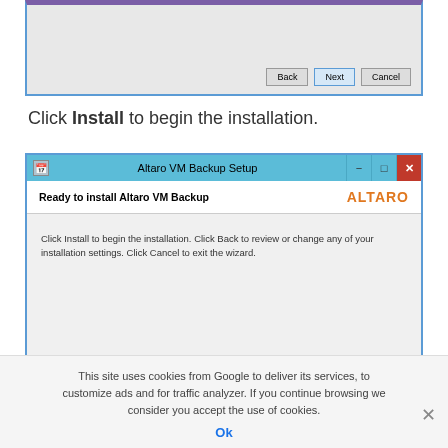[Figure (screenshot): Top portion of a Windows installer dialog showing Back, Next, and Cancel buttons on a gray background with blue border and purple top bar.]
Click Install to begin the installation.
[Figure (screenshot): Altaro VM Backup Setup dialog window with blue title bar reading 'Altaro VM Backup Setup', Altaro logo in orange, header 'Ready to install Altaro VM Backup', and body text: 'Click Install to begin the installation. Click Back to review or change any of your installation settings. Click Cancel to exit the wizard.']
This site uses cookies from Google to deliver its services, to customize ads and for traffic analyzer. If you continue browsing we consider you accept the use of cookies.
Ok